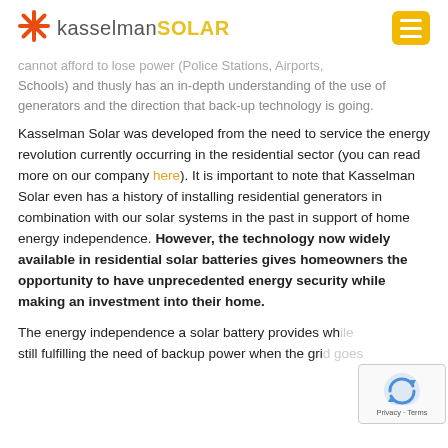kasselman SOLAR
...cannot afford to lose power (Police Stations, Airports, Schools) and thusly has an in-depth understanding of the use of generators and the direction that back-up technology is going.
Kasselman Solar was developed from the need to service the energy revolution currently occurring in the residential sector (you can read more on our company here). It is important to note that Kasselman Solar even has a history of installing residential generators in combination with our solar systems in the past in support of home energy independence. However, the technology now widely available in residential solar batteries gives homeowners the opportunity to have unprecedented energy security while making an investment into their home.
The energy independence a solar battery provides while still fulfilling the need of backup power when the grid goes...